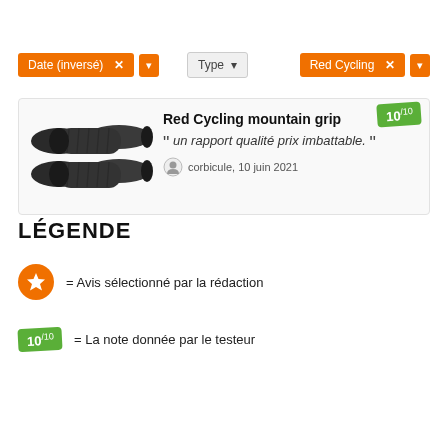Date (inversé) × ▼   Type ▼   Red Cycling × ▼
[Figure (photo): Two black bicycle handlebar grips (Red Cycling mountain grip)]
Red Cycling mountain grip
" un rapport qualité prix imbattable. "
corbicule, 10 juin 2021
LÉGENDE
= Avis sélectionné par la rédaction
10/10 = La note donnée par le testeur